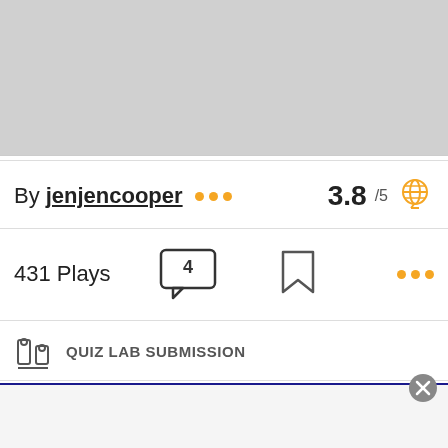[Figure (photo): Gray placeholder image area at top of card]
By jenjencooper ••• 3.8 /5
431 Plays
QUIZ LAB SUBMISSION